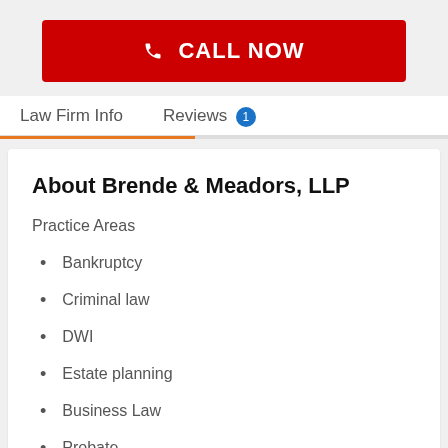[Figure (other): Red call-to-action button with phone icon reading CALL NOW]
Law Firm Info   Reviews 1
About Brende & Meadors, LLP
Practice Areas
Bankruptcy
Criminal law
DWI
Estate planning
Business Law
Probate
Real Estate